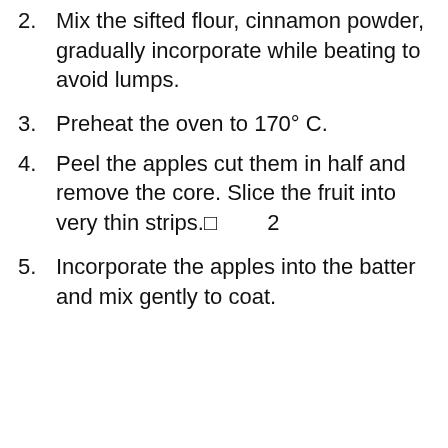Mix the sifted flour, cinnamon powder, gradually incorporate while beating to avoid lumps.
Preheat the oven to 170° C.
Peel the apples cut them in half and remove the core. Slice the fruit into very thin strips.    2
Incorporate the apples into the batter and mix gently to coat.